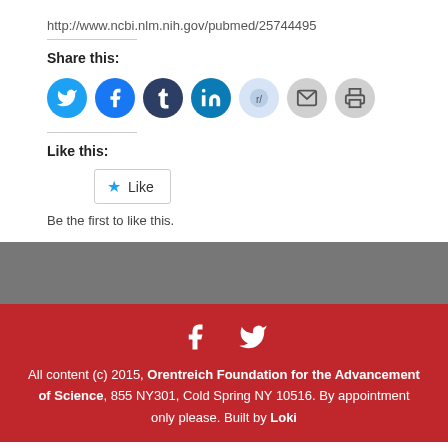http://www.ncbi.nlm.nih.gov/pubmed/25744495
Share this:
[Figure (infographic): Row of social sharing icon circles: Twitter (blue), Facebook (blue), Tumblr (dark navy), LinkedIn (teal), Reddit (light blue), Email (gray), Print (gray)]
Like this:
[Figure (infographic): WordPress Like button with star icon and 'Like' text]
Be the first to like this.
All content (c) 2015, Orentreich Foundation for the Advancement of Science, 855 NY301, Cold Spring NY 10516. By appointment only please. Built by Loki